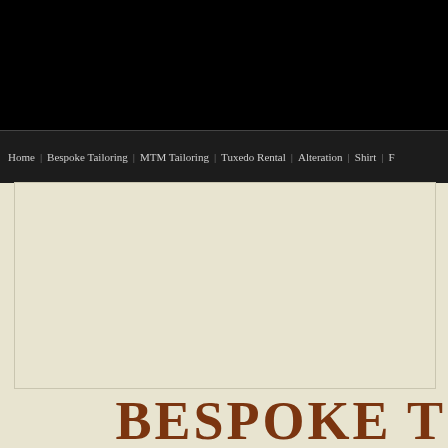Home | Bespoke Tailoring | MTM Tailoring | Tuxedo Rental | Alteration | Shirt | F...
[Figure (screenshot): Large beige/cream banner image area]
BESPOKE T
About Us
Faceton, one of new TAILOR shops popular in Shanghai. The clear difference between...